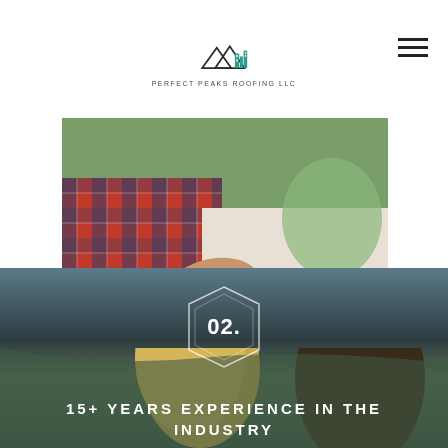[Figure (logo): Perfect Peaks Roofing LLC logo with mountain peaks and teal building silhouette]
[Figure (photo): Close-up photo of two people shaking hands outdoors, one wearing a plaid shirt]
[Figure (photo): Outdoor scene with people in foreground and wooded hillside in background, with decorative hexagon badge showing '02.' and text '15+ YEARS EXPERIENCE IN THE INDUSTRY']
02.
15+ YEARS EXPERIENCE IN THE INDUSTRY